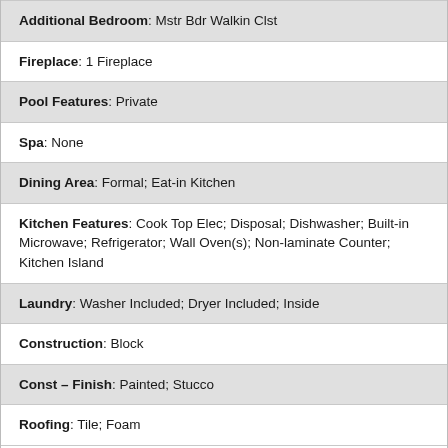| Additional Bedroom: Mstr Bdr Walkin Clst |
| Fireplace: 1 Fireplace |
| Pool Features: Private |
| Spa: None |
| Dining Area: Formal; Eat-in Kitchen |
| Kitchen Features: Cook Top Elec; Disposal; Dishwasher; Built-in Microwave; Refrigerator; Wall Oven(s); Non-laminate Counter; Kitchen Island |
| Laundry: Washer Included; Dryer Included; Inside |
| Construction: Block |
| Const - Finish: Painted; Stucco |
| Roofing: Tile; Foam |